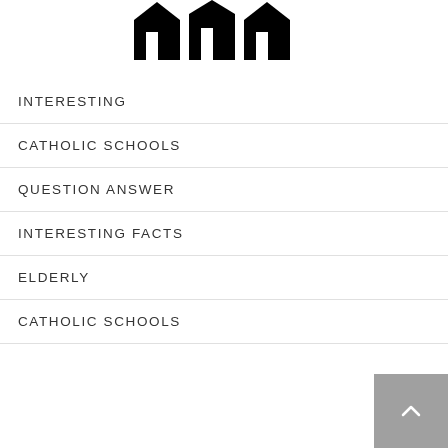[Figure (logo): Black and white logo with building/arch shapes resembling church or school silhouettes]
INTERESTING
CATHOLIC SCHOOLS
QUESTION ANSWER
INTERESTING FACTS
ELDERLY
CATHOLIC SCHOOLS